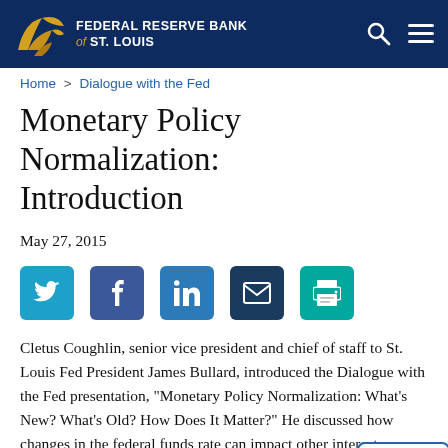FEDERAL RESERVE BANK of ST. LOUIS
Home > Dialogue with the Fed
Monetary Policy Normalization: Introduction
May 27, 2015
[Figure (other): Social sharing buttons: Twitter, Facebook, LinkedIn, Email, Print]
Cletus Coughlin, senior vice president and chief of staff to St. Louis Fed President James Bullard, introduced the Dialogue with the Fed presentation, "Monetary Policy Normalization: What's New? What's Old? How Does It Matter?" He discussed how changes in the federal funds rate can impact other interest rates, which in turn affect other economic decisions. He also